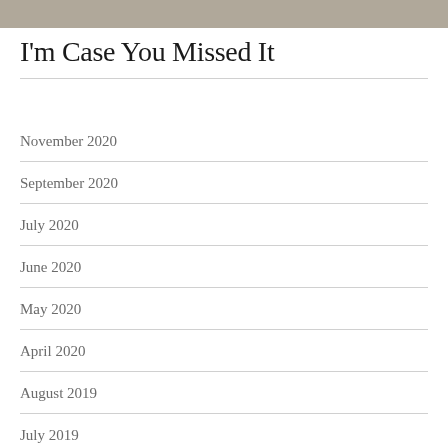[Figure (photo): Partial photo strip at top of page, appearing to show a natural or outdoor scene]
I'm Case You Missed It
November 2020
September 2020
July 2020
June 2020
May 2020
April 2020
August 2019
July 2019
May 2019